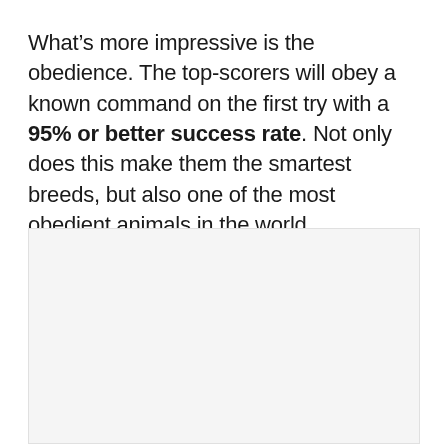What’s more impressive is the obedience. The top-scorers will obey a known command on the first try with a 95% or better success rate. Not only does this make them the smartest breeds, but also one of the most obedient animals in the world.
[Figure (photo): A mostly blank/white image placeholder area with very faint content, appearing to show a light-colored animal or scene.]